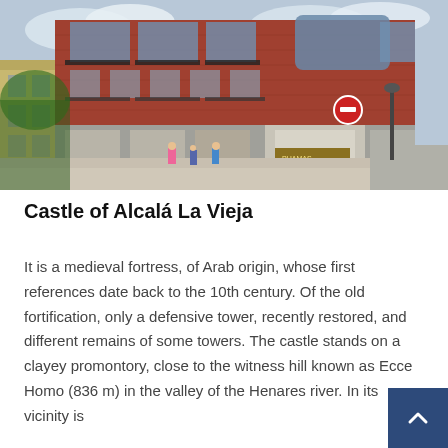[Figure (photo): Street-level photo of a historic red brick building on a pedestrian street in Alcalá, Spain. The building has ornate ironwork balconies and a curved glass corner. People walking on the sidewalk, a stop sign visible, and a street lamp on the right.]
Castle of Alcalá La Vieja
It is a medieval fortress, of Arab origin, whose first references date back to the 10th century. Of the old fortification, only a defensive tower, recently restored, and different remains of some towers. The castle stands on a clayey promontory, close to the witness hill known as Ecce Homo (836 m) in the valley of the Henares river. In its vicinity is